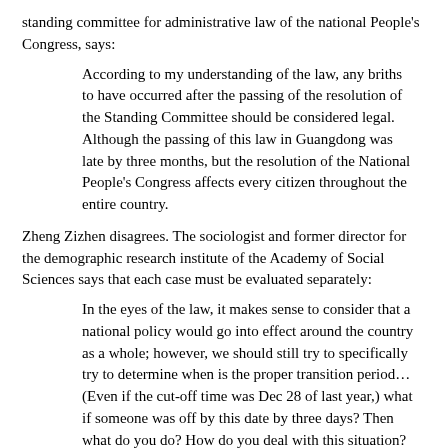standing committee for administrative law of the national People's Congress, says:
According to my understanding of the law, any briths to have occurred after the passing of the resolution of the Standing Committee should be considered legal. Although the passing of this law in Guangdong was late by three months, but the resolution of the National People's Congress affects every citizen throughout the entire country.
Zheng Zizhen disagrees. The sociologist and former director for the demographic research institute of the Academy of Social Sciences says that each case must be evaluated separately:
In the eyes of the law, it makes sense to consider that a national policy would go into effect around the country as a whole; however, we should still try to specifically try to determine when is the proper transition period…(Even if the cut-off time was Dec 28 of last year,) what if someone was off by this date by three days? Then what do you do? How do you deal with this situation? That's why I think it's best to act in accordance with the law.
As with all laws governing the country, each case must be...